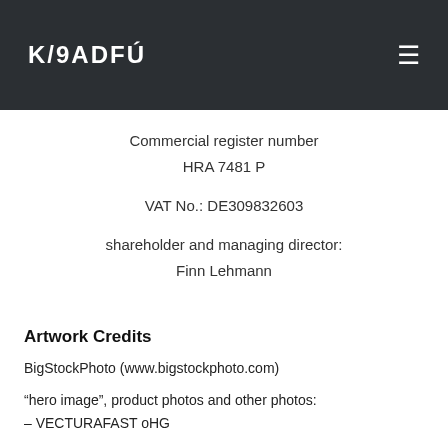K/ADFU
Commercial register number
HRA 7481 P
VAT No.: DE309832603
shareholder and managing director:
Finn Lehmann
Artwork Credits
BigStockPhoto (www.bigstockphoto.com)
"hero image", product photos and other photos:
– VECTURAFAST oHG
We thank www.flaticon.com for providing icons of the